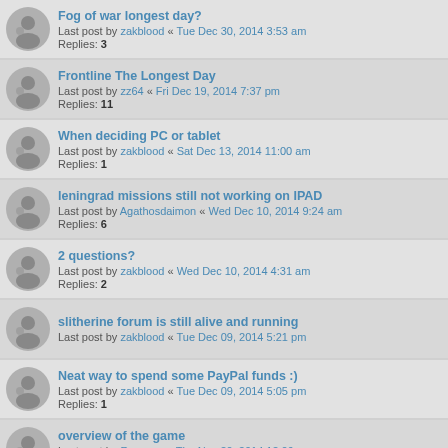Fog of war longest day? | Last post by zakblood « Tue Dec 30, 2014 3:53 am | Replies: 3
Frontline The Longest Day | Last post by zz64 « Fri Dec 19, 2014 7:37 pm | Replies: 11
When deciding PC or tablet | Last post by zakblood « Sat Dec 13, 2014 11:00 am | Replies: 1
leningrad missions still not working on IPAD | Last post by Agathosdaimon « Wed Dec 10, 2014 9:24 am | Replies: 6
2 questions? | Last post by zakblood « Wed Dec 10, 2014 4:31 am | Replies: 2
slitherine forum is still alive and running | Last post by zakblood « Tue Dec 09, 2014 5:21 pm
Neat way to spend some PayPal funds :) | Last post by zakblood « Tue Dec 09, 2014 5:05 pm | Replies: 1
overview of the game | Last post by Rosseau « Thu Nov 20, 2014 12:09 am | Replies: 1
Editing Save Game File | Last post by Rosseau « Thu Oct 09, 2014 3:09 am
Smolensk | Last post by Moltke71 « Sun Oct 05, 2014 1:57 pm